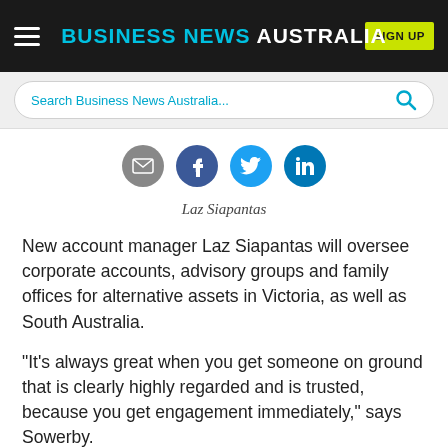BUSINESS NEWS AUSTRALIA
Search Business News Australia...
[Figure (infographic): Row of four social sharing icons: email (grey), Facebook (dark blue), Twitter (light blue), LinkedIn (blue)]
Laz Siapantas
New account manager Laz Siapantas will oversee corporate accounts, advisory groups and family offices for alternative assets in Victoria, as well as South Australia.
“It’s always great when you get someone on ground that is clearly highly regarded and is trusted, because you get engagement immediately,” says Sowerby.
“There’s no doubt that increasing our AUM is a result of the very strong networks, trust and reputation of Laz in